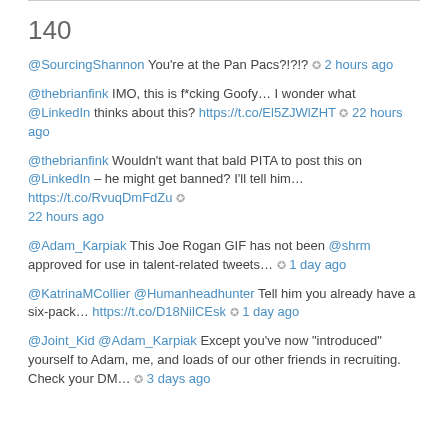140
@SourcingShannon You're at the Pan Pacs?!?!? ✪ 2 hours ago
@thebrianfink IMO, this is f*cking Goofy… I wonder what @LinkedIn thinks about this? https://t.co/El5ZJWlZHT ✪ 22 hours ago
@thebrianfink Wouldn't want that bald PITA to post this on @LinkedIn – he might get banned? I'll tell him… https://t.co/RvuqDmFdZu ✪ 22 hours ago
@Adam_Karpiak This Joe Rogan GIF has not been @shrm approved for use in talent-related tweets… ✪ 1 day ago
@KatrinaMCollier @Humanheadhunter Tell him you already have a six-pack… https://t.co/D18NilCEsk ✪ 1 day ago
@Joint_Kid @Adam_Karpiak Except you've now "introduced" yourself to Adam, me, and loads of our other friends in recruiting. Check your DM… ✪ 3 days ago